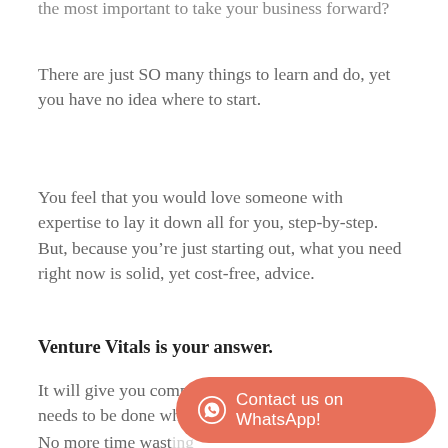the most important to take your business forward?
There are just SO many things to learn and do, yet you have no idea where to start.
You feel that you would love someone with expertise to lay it down all for you, step-by-step.  But, because you’re just starting out, what you need right now is solid, yet cost-free, advice.
Venture Vitals is your answer.
It will give you complete clarity on what exactly needs to be done when you’re getting started.
No more time wasting...
[Figure (other): Orange/salmon rounded button with WhatsApp circle icon and text 'Contact us on WhatsApp!']